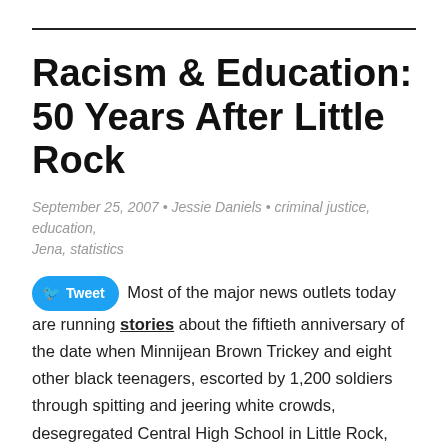Racism & Education: 50 Years After Little Rock
September 25, 2007 • Jessie Daniels • criminal justice, education, Jena, statistics
Most of the major news outlets today are running stories about the fiftieth anniversary of the date when Minnijean Brown Trickey and eight other black teenagers, escorted by 1,200 soldiers through spitting and jeering white crowds, desegregated Central High School in Little Rock, Arkansas. The integration of Central High School stands in stark contrast to the recent events at the high school in Jena, and to the racial pattern of school discipline throughout the